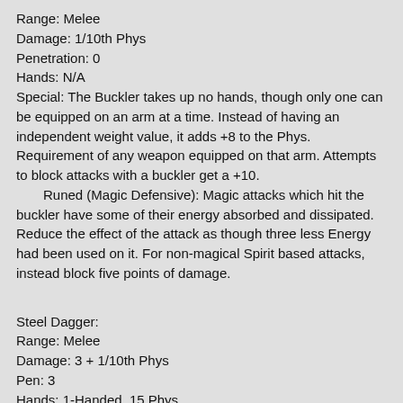Range: Melee
Damage: 1/10th Phys
Penetration: 0
Hands: N/A
Special: The Buckler takes up no hands, though only one can be equipped on an arm at a time. Instead of having an independent weight value, it adds +8 to the Phys. Requirement of any weapon equipped on that arm. Attempts to block attacks with a buckler get a +10.
   Runed (Magic Defensive): Magic attacks which hit the buckler have some of their energy absorbed and dissipated. Reduce the effect of the attack as though three less Energy had been used on it. For non-magical Spirit based attacks, instead block five points of damage.
Steel Dagger:
Range: Melee
Damage: 3 + 1/10th Phys
Pen: 3
Hands: 1-Handed, 15 Phys
Special: None
Armor:
Arm Power Frame:
Protection: 2